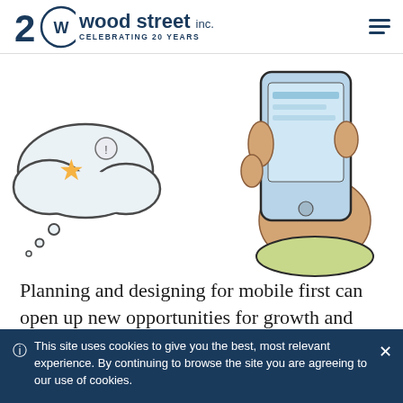Wood Street Inc. — Celebrating 20 Years
[Figure (illustration): Illustration of a hand holding a smartphone with a thought bubble showing social media and notification icons, in a sketch/cartoon style with light watercolor tones]
Planning and designing for mobile first can open up new opportunities for growth and lead to a better overall user experience across all available
This site uses cookies to give you the best, most relevant experience. By continuing to browse the site you are agreeing to our use of cookies.